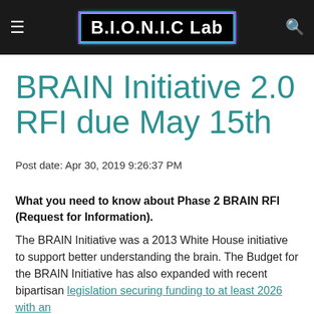B.I.O.N.I.C Lab
BRAIN Initiative 2.0 RFI due May 15th
Post date: Apr 30, 2019 9:26:37 PM
What you need to know about Phase 2 BRAIN RFI (Request for Information).
The BRAIN Initiative was a 2013 White House initiative to support better understanding the brain. The Budget for the BRAIN Initiative has also expanded with recent bipartisan legislation securing funding to at least 2026 with an